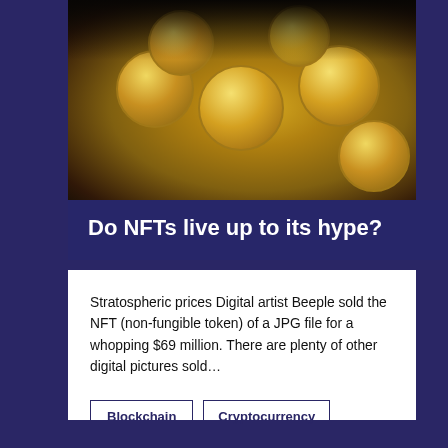[Figure (photo): Gold cryptocurrency coins (Bitcoin, Ethereum, Dogecoin) piled together on a dark background]
Do NFTs live up to its hype?
Stratospheric prices Digital artist Beeple sold the NFT (non-fungible token) of a JPG file for a whopping $69 million. There are plenty of other digital pictures sold…
Blockchain
Cryptocurrency
Investment
NFT
Startup